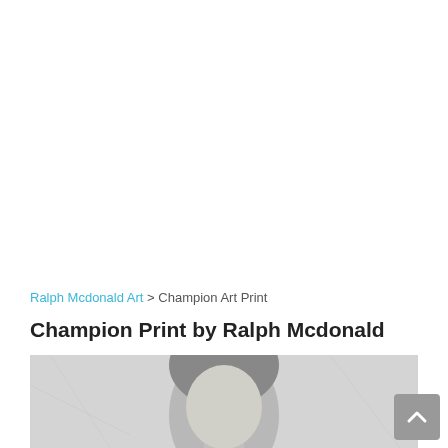Ralph Mcdonald Art > Champion Art Print
Champion Print by Ralph Mcdonald
[Figure (photo): Partial grayscale photo showing what appears to be a person's head/face, cropped, light gray tones]